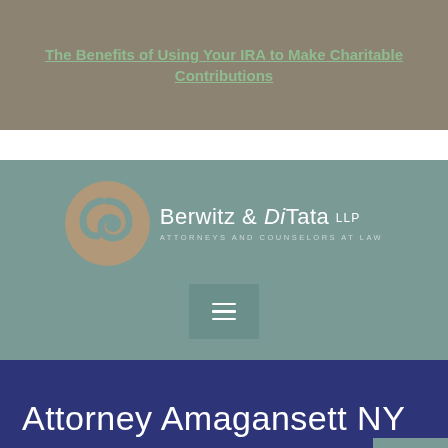The Benefits of Using Your IRA to Make Charitable Contributions
[Figure (logo): Berwitz & DiTata LLP logo — circular brown swirl icon on left, firm name and tagline 'Attorneys and Counselors at Law' on right, on a muted teal/green background]
Attorney Amagansett NY